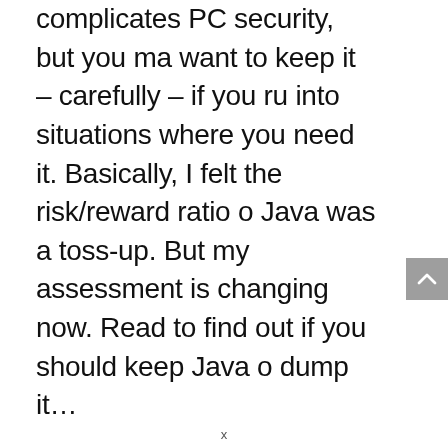complicates PC security, but you may want to keep it – carefully – if you run into situations where you need it. Basically, I felt the risk/reward ratio of Java was a toss-up. But my assessment is changing now. Read to find out if you should keep Java or dump it…
[Figure (other): A gray scroll-to-top button with an upward arrow chevron, positioned at the bottom right of the page.]
x